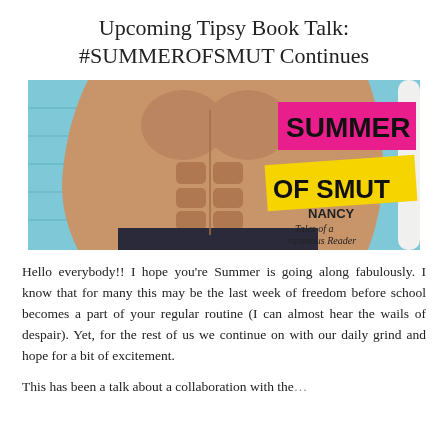Upcoming Tipsy Book Talk: #SUMMEROFSMUT Continues
[Figure (photo): Book cover image for 'Summer of Smut' by Nancy Tales of a Ravenous Reader, showing a shirtless muscular man holding a surfboard against a blue wooden wall. Text overlays: 'SUMMER' on a hot pink background, 'OF SMUT' on a yellow background, and 'NANCY Tales of a ravenous Reader' below.]
Hello everybody!! I hope you’re Summer is going along fabulously. I know that for many this may be the last week of freedom before school becomes a part of your regular routine (I can almost hear the wails of despair). Yet, for the rest of us we continue on with our daily grind and hope for a bit of excitement.
This has been a talk about a collaboration with the...